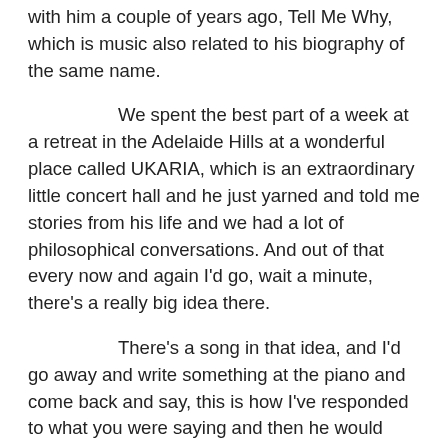with him a couple of years ago, Tell Me Why, which is music also related to his biography of the same name.
We spent the best part of a week at a retreat in the Adelaide Hills at a wonderful place called UKARIA, which is an extraordinary little concert hall and he just yarned and told me stories from his life and we had a lot of philosophical conversations. And out of that every now and again I'd go, wait a minute, there's a really big idea there.
There's a song in that idea, and I'd go away and write something at the piano and come back and say, this is how I've responded to what you were saying and then he would write lyrics to that. I would literally do what we're doing now in a way. I'd record it on my phone, bring my phone back to him and say, have a listen to this, and then he would write some words.
And I guess the point I'm trying to make